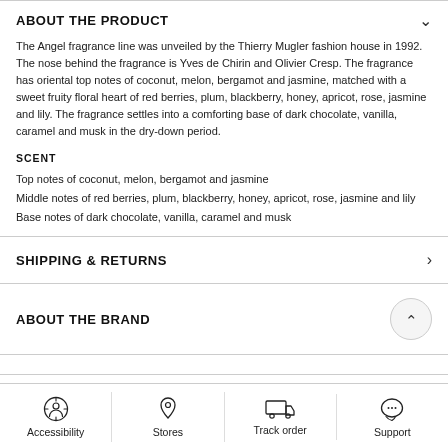ABOUT THE PRODUCT
The Angel fragrance line was unveiled by the Thierry Mugler fashion house in 1992. The nose behind the fragrance is Yves de Chirin and Olivier Cresp. The fragrance has oriental top notes of coconut, melon, bergamot and jasmine, matched with a sweet fruity floral heart of red berries, plum, blackberry, honey, apricot, rose, jasmine and lily. The fragrance settles into a comforting base of dark chocolate, vanilla, caramel and musk in the dry-down period.
SCENT
Top notes of coconut, melon, bergamot and jasmine
Middle notes of red berries, plum, blackberry, honey, apricot, rose, jasmine and lily
Base notes of dark chocolate, vanilla, caramel and musk
SHIPPING & RETURNS
ABOUT THE BRAND
Accessibility  Stores  Track order  Support